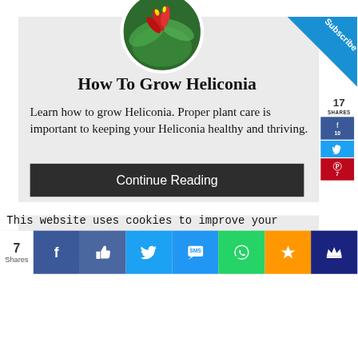[Figure (photo): Circular profile photo of a Heliconia plant with red flowers and green leaves, partially visible at top center of card]
[Figure (infographic): Blue triangular Subscribe banner in top-right corner]
How To Grow Heliconia
17 SHARES
Learn how to grow Heliconia. Proper plant care is important to keeping your Heliconia healthy and thriving.
Continue Reading
This website uses cookies to improve your experience. We'll assume you're ok with this, but you can opt-out if
[Figure (infographic): Bottom share bar with 7 Shares count and colored social media buttons: Facebook, Like, Twitter, SMS, WhatsApp, Favorite (star), VIP (crown)]
7 Shares